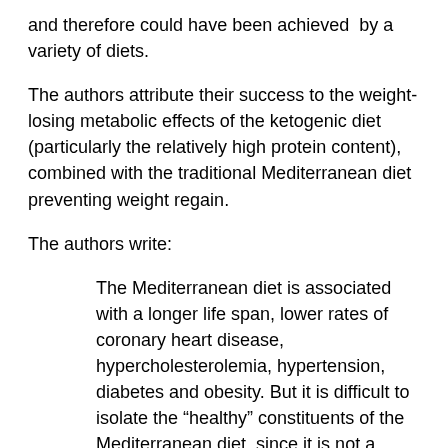and therefore could have been achieved by a variety of diets.
The authors attribute their success to the weight-losing metabolic effects of the ketogenic diet (particularly the relatively high protein content), combined with the traditional Mediterranean diet preventing weight regain.
The authors write:
The Mediterranean diet is associated with a longer life span, lower rates of coronary heart disease, hypercholesterolemia, hypertension, diabetes and obesity. But it is difficult to isolate the “healthy” constituents of the Mediterranean diet, since it is not a single entity and varies between regions and countries. All things considered there is no “one size fits all” dietary recommendation and for this reason we